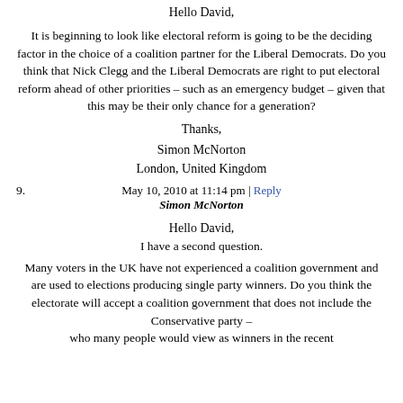Hello David,
It is beginning to look like electoral reform is going to be the deciding factor in the choice of a coalition partner for the Liberal Democrats. Do you think that Nick Clegg and the Liberal Democrats are right to put electoral reform ahead of other priorities – such as an emergency budget – given that this may be their only chance for a generation?
Thanks,
Simon McNorton
London, United Kingdom
May 10, 2010 at 11:14 pm | Reply
9. Simon McNorton
Hello David,
I have a second question.
Many voters in the UK have not experienced a coalition government and are used to elections producing single party winners. Do you think the electorate will accept a coalition government that does not include the Conservative party – who many people would view as winners in the recent